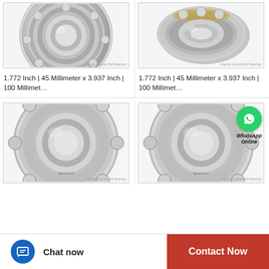[Figure (photo): Angular contact ball bearing product photo - top left]
[Figure (photo): Angular contact ball bearing product photo - top right]
1.772 Inch | 45 Millimeter x 3.937 Inch | 100 Millimet...
1.772 Inch | 45 Millimeter x 3.937 Inch | 100 Millimet...
[Figure (photo): Angular contact ball bearing product photo - bottom left]
[Figure (photo): Angular contact ball bearing product photo - bottom right, with WhatsApp Online overlay]
WhatsApp Online
Chat now
Contact Now